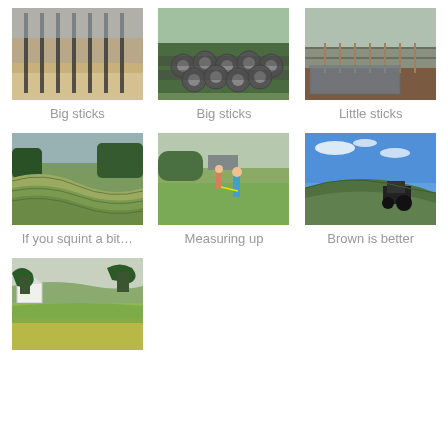[Figure (photo): Fence posts in a field - Big sticks]
Big sticks
[Figure (photo): Stack of large black pipes/rods - Big sticks]
Big sticks
[Figure (photo): Vineyard rows with small sticks - Little sticks]
Little sticks
[Figure (photo): Rolling green field rows - If you squint a bit...]
If you squint a bit…
[Figure (photo): Two children measuring in a field - Measuring up]
Measuring up
[Figure (photo): Tractor on a brown hill under blue sky - Brown is better]
Brown is better
[Figure (photo): Green landscape with house and trees]